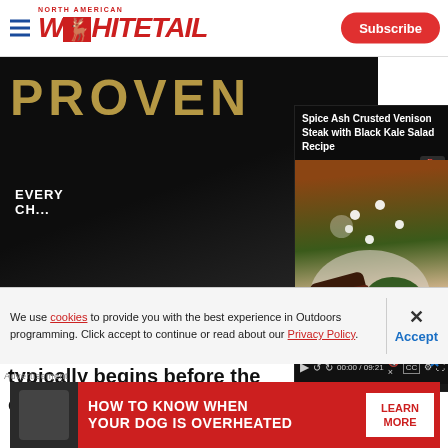North American Whitetail — Subscribe
[Figure (screenshot): Hero image with dark background showing text PROVEN in gold letters, with partial text EVERY below]
[Figure (screenshot): Video popup overlay: Spice Ash Crusted Venison Steak with Black Kale Salad Recipe. Duration 09:21. Shows a cooked steak with kale salad on a plate. Video controls visible including play button, time 00:00/09:21, mute, CC, settings and fullscreen icons.]
Even though th... season location... typically begins before the crop is harvested. As the
We use cookies to provide you with the best experience in Outdoors programming. Click accept to continue or read about our Privacy Policy.
Advertisement
[Figure (photo): Advertisement banner: HOW TO KNOW WHEN YOUR DOG IS OVERHEATED — LEARN MORE. Red background with dog photo on left.]